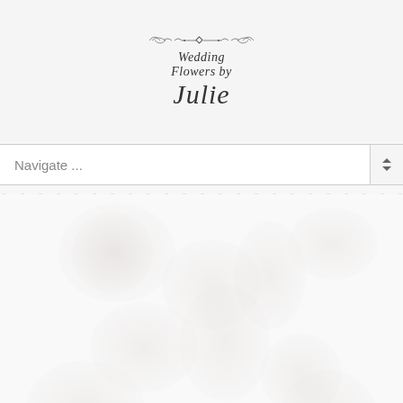[Figure (logo): Wedding Flowers by Julie logo with decorative flourish and cursive text on light grey background]
Navigate ...
[Figure (illustration): Faint floral/botanical watermark imagery in the lower content area, very light grey on white background]